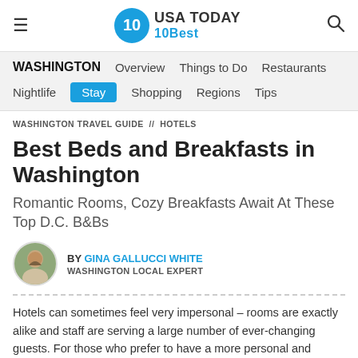USA TODAY 10Best
WASHINGTON  Overview  Things to Do  Restaurants  Nightlife  Stay  Shopping  Regions  Tips
WASHINGTON TRAVEL GUIDE // HOTELS
Best Beds and Breakfasts in Washington
Romantic Rooms, Cozy Breakfasts Await At These Top D.C. B&Bs
BY GINA GALLUCCI WHITE
WASHINGTON LOCAL EXPERT
Hotels can sometimes feel very impersonal – rooms are exactly alike and staff are serving a large number of ever-changing guests. For those who prefer to have a more personal and unique experience, bed and breakfast venues are a great place to feel pampered yet